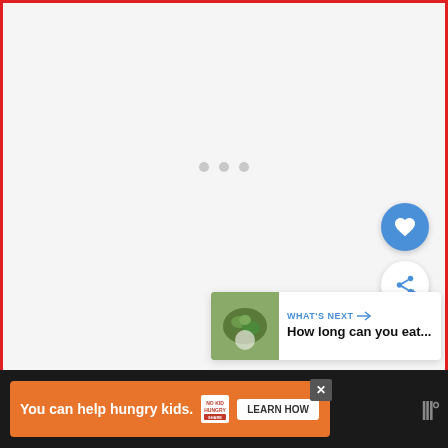[Figure (screenshot): Loading screen with three gray dots centered on a light gray background, bordered by red lines on left, right, and top. Social action buttons (heart/like in blue circle, share in white circle) on the right side. 'What's Next' card in bottom right showing a food image and text 'How long can you eat...']
[Figure (screenshot): Orange advertisement banner at bottom: 'You can help hungry kids.' with No Kid Hungry logo and 'LEARN HOW' button. Dark bottom bar with weather app icon on the right.]